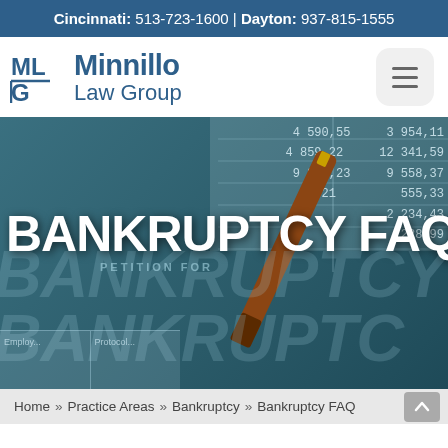Cincinnati: 513-723-1600 | Dayton: 937-815-1555
[Figure (logo): Minnillo Law Group logo with ML/G icon and text, and hamburger menu button on right]
[Figure (photo): Hero image showing bankruptcy petition documents and a pen with overlay text BANKRUPTCY FAQ on a teal/dark blue background]
BANKRUPTCY FAQ
Home » Practice Areas » Bankruptcy » Bankruptcy FAQ